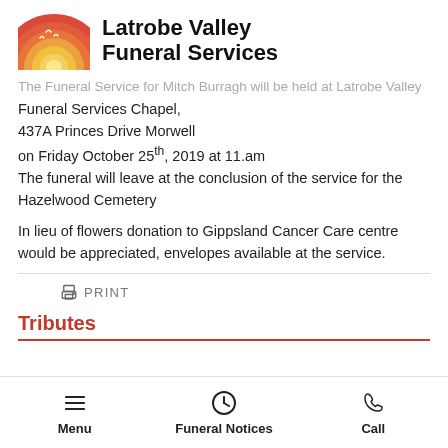[Figure (logo): Latrobe Valley Funeral Services logo with semicircular red/orange/yellow sun and seagulls, and bold black text]
The Funeral Service for Mitch Burragh will be held at Latrobe Valley Funeral Services Chapel, 437A Princes Drive Morwell on Friday October 25th, 2019 at 11.am The funeral will leave at the conclusion of the service for the Hazelwood Cemetery
In lieu of flowers donation to Gippsland Cancer Care centre would be appreciated, envelopes available at the service.
PRINT
Tributes
Menu | Funeral Notices | Call